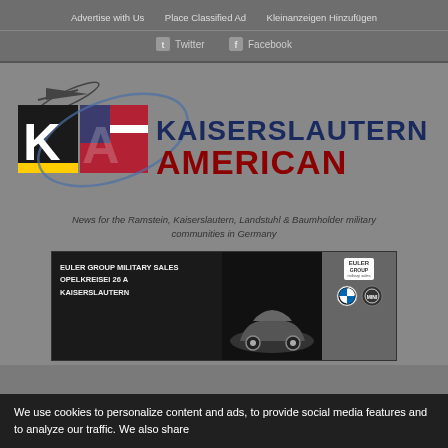Advertise with Us   Place Classified Ad   Kleinanzeigen Hinzufügen
Twitter   Facebook
[Figure (logo): Kaiserslautern American newspaper logo with KA letters and US/German flag imagery, jet silhouette, and text KAISERSLAUTERN AMERICAN]
News for the Ramstein, Kaiserslautern, Landstuhl & Baumholder military communities in Germany
[Figure (other): Euler Group Military Sales advertisement banner. Text: EULER GROUP MILITARY SALES OPELKREISEI 26 A KAISERSLAUTERN. Shows car silhouette and Euler Group logo with BMW and MINI logos.]
We use cookies to personalize content and ads, to provide social media features and to analyze our traffic. We also share